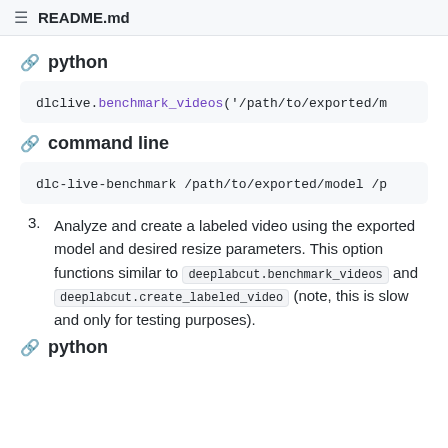README.md
python
dlclive.benchmark_videos('/path/to/exported/m
command line
dlc-live-benchmark /path/to/exported/model /p
3. Analyze and create a labeled video using the exported model and desired resize parameters. This option functions similar to deeplabcut.benchmark_videos and deeplabcut.create_labeled_video (note, this is slow and only for testing purposes).
python